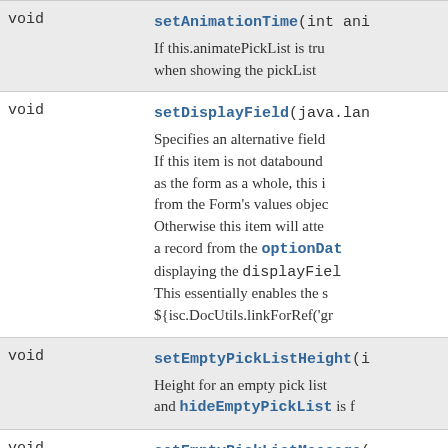| Type | Method / Description |
| --- | --- |
| void | setAnimationTime(int ani
If this.animatePickList is tru when showing the pickList |
| void | setDisplayField(java.lan
Specifies an alternative field If this item is not databound as the form as a whole, this i from the Form's values objec Otherwise this item will atte a record from the optionDat displaying the displayFiel This essentially enables the s ${isc.DocUtils.linkForRef('gr |
| void | setEmptyPickListHeight(i
Height for an empty pick list and hideEmptyPickList is f |
| void | setEmptyPickListMessage(
Empty message to display in |